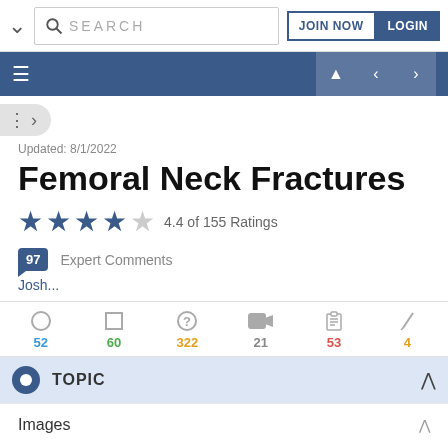SEARCH | JOIN NOW | LOGIN
Updated: 8/1/2022
Femoral Neck Fractures
4.4 of 155 Ratings
97 Expert Comments
Josh...
52 60 322 21 53 4
TOPIC
Images